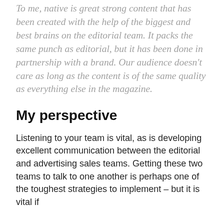To me, native is great strong content that has been created with the help of the biggest and best brains on the editorial team. It packs the same punch as editorial, but it has been done in partnership with a brand. Our audience doesn't care as long as the content is of the same quality as everything else in the magazine.
My perspective
Listening to your team is vital, as is developing excellent communication between the editorial and advertising sales teams. Getting these two teams to talk to one another is perhaps one of the toughest strategies to implement – but it is vital if